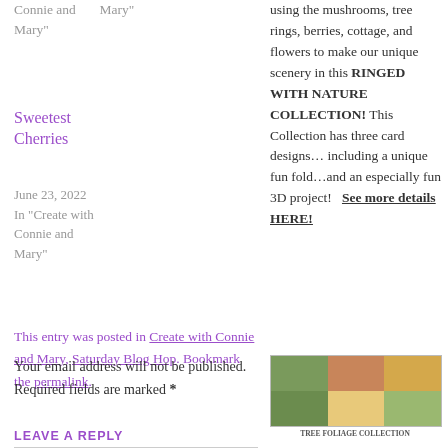Connie and    Mary"
Mary"
Sweetest Cherries
June 23, 2022
In "Create with Connie and Mary"
This entry was posted in Create with Connie and Mary, Saturday Blog Hop. Bookmark the permalink.
LEAVE A REPLY
Your email address will not be published. Required fields are marked *
using the mushrooms, tree rings, berries, cottage, and flowers to make our unique scenery in this RINGED WITH NATURE COLLECTION! This Collection has three card designs… including a unique fun fold…and an especially fun 3D project!   See more details HERE!
[Figure (photo): Thumbnail image of tree/nature collection product]